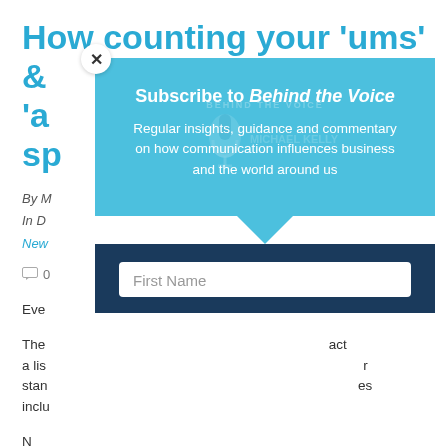How counting your 'ums' & 'ahs' can make you a better speaker
By M...
In D...
New...
0 comments
Eve...
The... act a list... r stan... es inclu...
[Figure (screenshot): Subscribe to Behind the Voice modal overlay with blue background, watermark logo, description text about regular insights and a First Name form field on dark blue background]
N...